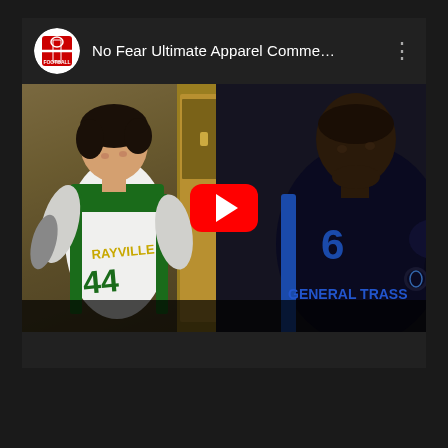[Figure (screenshot): YouTube video card showing 'No Fear Ultimate Apparel Comme...' with a channel logo for a football channel (GF Football). The thumbnail shows two football players in locker rooms — one wearing a Rayville #44 white and green jersey on the left, and one wearing a General Trass dark jersey on the right. A red YouTube play button is overlaid in the center of the thumbnail.]